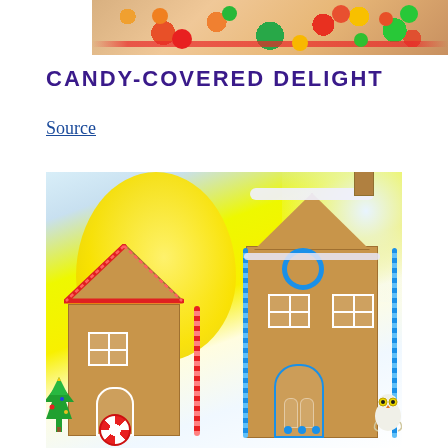[Figure (photo): Top portion of a photo showing colorful candies and decorations on a brown/tan surface — oranges, reds, greens visible along with a pink/red ribbon or pipe cleaner]
CANDY-COVERED DELIGHT
Source
[Figure (photo): Two cardboard gingerbread houses decorated with pipe cleaners, fake snow, and craft supplies. Left house has red and white candy cane decorations with a peppermint candy door ornament and a small green Christmas tree beside it. Right house is taller with blue pipe cleaner trim, a wreath, arched door, and a small white owl figurine. Background features a large yellow balloon and light blue.]